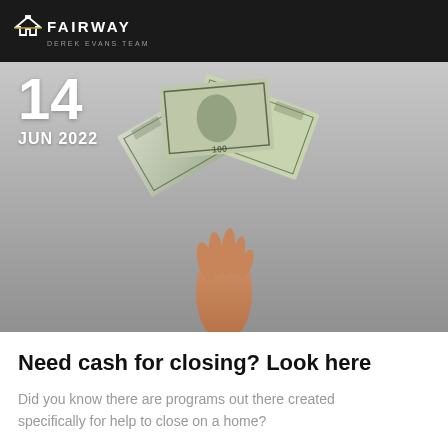FAIRWAY DEREK EVANS TEAM
[Figure (photo): A hand holding fanned-out US $100 dollar bills against a grey background, with date overlay '14 JUN 2022']
Need cash for closing? Look here
Did you know there are programs out there created specifically for help to close on a home?